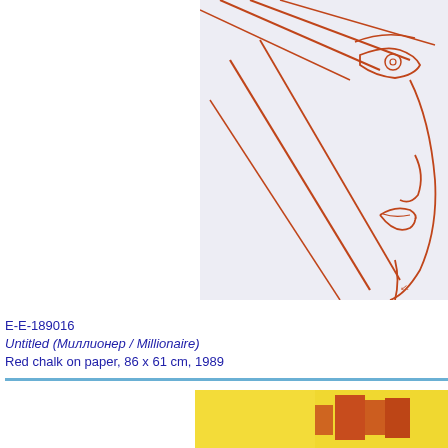[Figure (photo): Red chalk drawing on paper showing a side profile of a face (nose, lips, eye) with diagonal lines suggesting hair, drawn in terracotta/red chalk on white paper. Only the right portion of the drawing is visible.]
E-E-189016
Untitled (Миллионер / Millionaire)
Red chalk on paper, 86 x 61 cm, 1989
[Figure (photo): Bottom portion of another artwork showing yellow and red colors, partially cropped.]